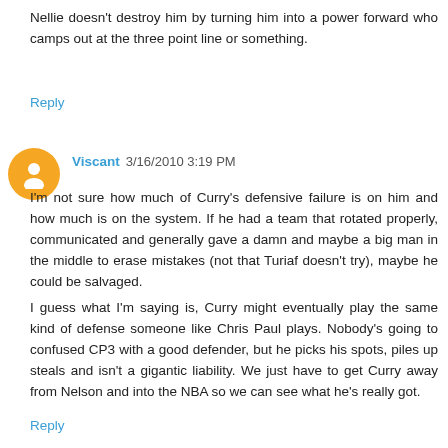Nellie doesn't destroy him by turning him into a power forward who camps out at the three point line or something.
Reply
Viscant 3/16/2010 3:19 PM
I'm not sure how much of Curry's defensive failure is on him and how much is on the system. If he had a team that rotated properly, communicated and generally gave a damn and maybe a big man in the middle to erase mistakes (not that Turiaf doesn't try), maybe he could be salvaged.
I guess what I'm saying is, Curry might eventually play the same kind of defense someone like Chris Paul plays. Nobody's going to confused CP3 with a good defender, but he picks his spots, piles up steals and isn't a gigantic liability. We just have to get Curry away from Nelson and into the NBA so we can see what he's really got.
Reply